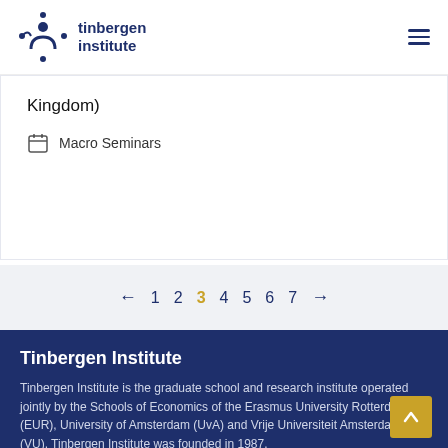[Figure (logo): Tinbergen Institute logo with circular figure icon and text 'tinbergen institute' in dark blue, plus hamburger menu icon on the right]
Kingdom)
Macro Seminars
← 1  2  3  4  5  6  7  →
Tinbergen Institute
Tinbergen Institute is the graduate school and research institute operated jointly by the Schools of Economics of the Erasmus University Rotterdam (EUR), University of Amsterdam (UvA) and Vrije Universiteit Amsterdam (VU). Tinbergen Institute was founded in 1987.